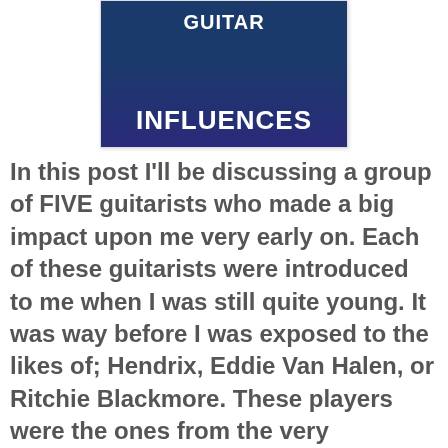[Figure (illustration): A banner image with dark blue background showing the text 'GUITAR INFLUENCES' in large bold white letters, with guitar imagery.]
In this post I'll be discussing a group of FIVE guitarists who made a big impact upon me very early on. Each of these guitarists were introduced to me when I was still quite young. It was way before I was exposed to the likes of; Hendrix, Eddie Van Halen, or Ritchie Blackmore. These players were the ones from the very beginning. And, they formed a direction for my playing that took